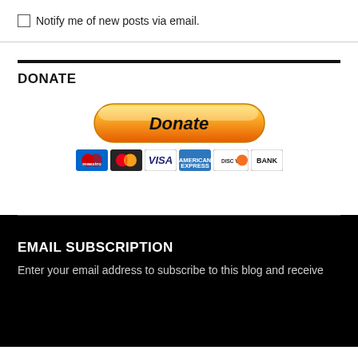Notify me of new posts via email.
DONATE
[Figure (other): PayPal Donate button with payment card icons (Maestro, Mastercard, VISA, Amex, Discover, Bank)]
EMAIL SUBSCRIPTION
Enter your email address to subscribe to this blog and receive